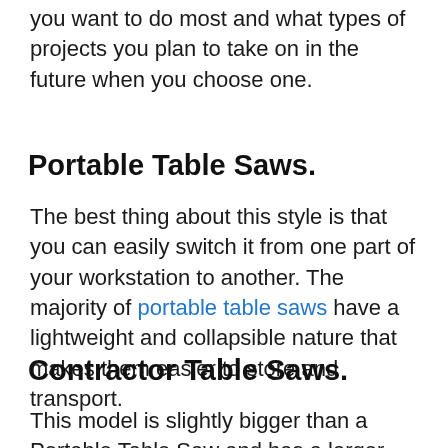you want to do most and what types of projects you plan to take on in the future when you choose one.
Portable Table Saws.
The best thing about this style is that you can easily switch it from one part of your workstation to another. The majority of portable table saws have a lightweight and collapsible nature that makes them easier to store and transport.
Contractor Table Saws.
This model is slightly bigger than a Portable Table Saw and has a larger work surface. Contractor Table Saws, on the other hand,